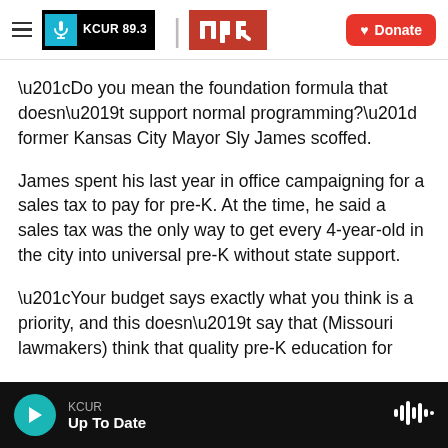KCUR 89.3 | npr | Donate
“Do you mean the foundation formula that doesn’t support normal programming?” former Kansas City Mayor Sly James scoffed.
James spent his last year in office campaigning for a sales tax to pay for pre-K. At the time, he said a sales tax was the only way to get every 4-year-old in the city into universal pre-K without state support.
“Your budget says exactly what you think is a priority, and this doesn’t say that (Missouri lawmakers) think that quality pre-K education for
KCUR | Up To Date